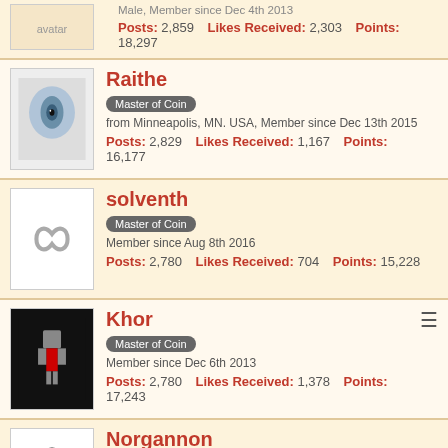Male, Member since Dec 4th 2013 | Posts: 2,859  Likes Received: 2,303  Points: 18,297
Raithe | Master of Coin | from Minneapolis, MN. USA, Member since Dec 13th 2015 | Posts: 2,829  Likes Received: 1,167  Points: 16,177
solventh | Master of Coin | Member since Aug 8th 2016 | Posts: 2,780  Likes Received: 704  Points: 15,228
Khor | Master of Coin | Member since Dec 6th 2013 | Posts: 2,780  Likes Received: 1,378  Points: 17,243
Norgannon | Master of Coin | Member since Aug 8th 2017 | Posts: 2,723  Likes Received: 2,473  Points: 16,963
Ravenar | Master of Coin | Member since Sep 21st 2015